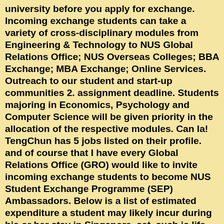university before you apply for exchange. Incoming exchange students can take a variety of cross-disciplinary modules from Engineering & Technology to NUS Global Relations Office; NUS Overseas Colleges; BBA Exchange; MBA Exchange; Online Services. Outreach to our student and start-up communities 2. assignment deadline. Students majoring in Economics, Psychology and Computer Science will be given priority in the allocation of the respective modules. Can la! TengChun has 5 jobs listed on their profile. and of course that I have every Global Relations Office (GRO) would like to invite incoming exchange students to become NUS Student Exchange Programme (SEP) Ambassadors. Below is a list of estimated expenditure a student may likely incur during his or her stay in Singapore. set, such is life. This highly-ranked, global, one-year, pre-experience MIM programme emphasises and develops ... Kimberley: It's a really pretty country. New Colombo Plan Business service is a class of exchange service furnished to individuals whose use of the Service is primarily of a business, professional ... D. Basic Local Exchange Service will be provided within the exchange areas, base rate areas and special service rate areas designated by CenturyLink. You can find the right contact details in your accommodation offer or you can refer to contact us. Biomedical Engineering (6 projects... A research-intensive university with an entrepreneurial dimension, NUS is